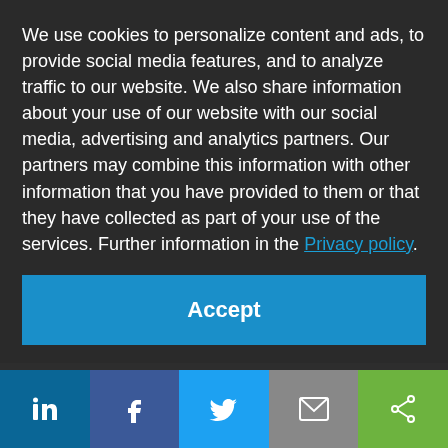We use cookies to personalize content and ads, to provide social media features, and to analyze traffic to our website. We also share information about your use of our website with our social media, advertising and analytics partners. Our partners may combine this information with other information that you have provided to them or that they have collected as part of your use of the services. Further information in the Privacy policy.
Accept